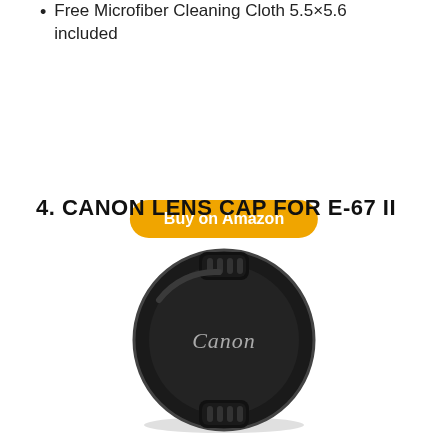Free Microfiber Cleaning Cloth 5.5×5.6 included
Buy on Amazon
4. CANON LENS CAP FOR E-67 II
[Figure (photo): Black Canon lens cap with Canon logo and pinch tabs, circular shape on white background]